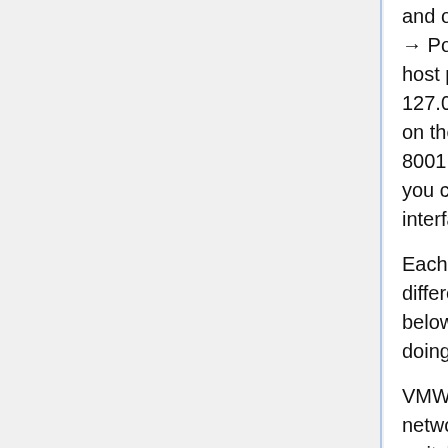and open up Settings → Network → Adapter 1 → Port Forwarding. You need to adjust the host port. For example, set your table to TCP | 127.0.0.1 | 8123 | | 8001. This maps port 8123 on the host machine (your computer) to port 8001 on the virtual machine (the warrior), and you can then access the warrior's web interface from port 8123 in your browser.
Each VM you want to access should have a different host port. Do not use port numbers below 1024 unless you know what you are doing.
VMWare installations should be using bridged networking. However, if you want, you can switch to NAT (under Settings → Hardware → Virtual Network Adapter) and click Edit to set up port forwarding. On Linux, you can also use lines like  8123 =